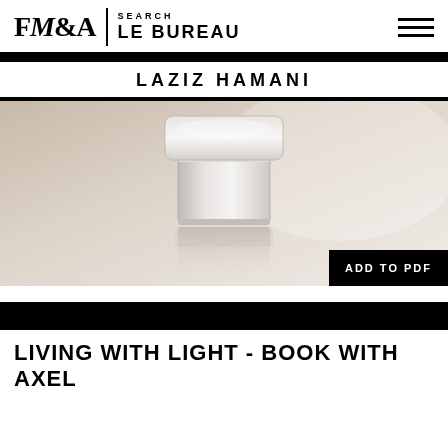FM&A | SEARCH LE BUREAU
LAZIZ HAMANI
[Figure (photo): A glass jar or cosmetic container photographed on a light neutral background, with a soft reflection visible below it.]
LIVING WITH LIGHT - BOOK WITH AXEL